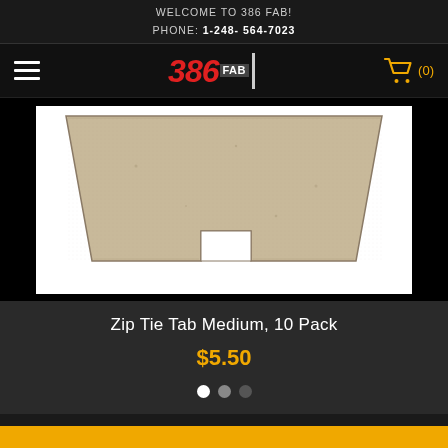WELCOME TO 386 FAB!
PHONE: 1-248- 564-7023
[Figure (logo): 386 FAB logo with red bold italic '386' text, 'FAB' label and vertical divider bar]
[Figure (photo): Product photo of a trapezoidal cardboard/fiberboard zip tie tab spacer with a rectangular notch cut out of the bottom center, on a white background]
Zip Tie Tab Medium, 10 Pack
$5.50